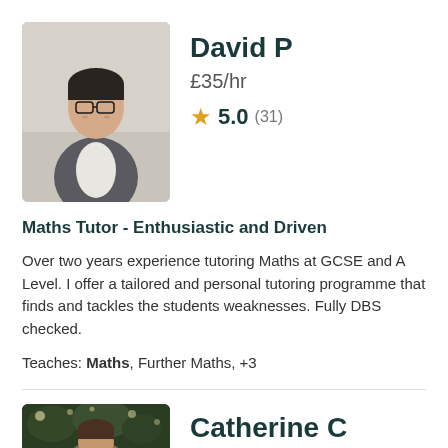[Figure (photo): Photo of tutor David P, a young man wearing glasses and a grey suit jacket with white shirt, standing indoors]
David P
£35/hr
★ 5.0 (31)
Maths Tutor - Enthusiastic and Driven
Over two years experience tutoring Maths at GCSE and A Level. I offer a tailored and personal tutoring programme that finds and tackles the students weaknesses. Fully DBS checked.
Teaches: Maths, Further Maths, +3
[Figure (photo): Photo of tutor Catherine C, a woman with bokeh lights in background]
Catherine C